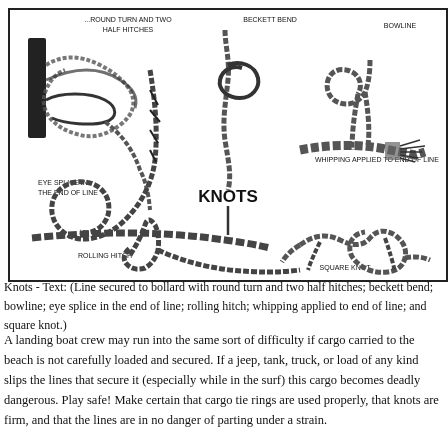[Figure (illustration): Diagram showing various nautical knots: round turn and two half hitches (line secured to bollard), beckett bend, bowline, eye splice in the end of line, knots label with vertical line, whipping applied to end of line, rolling hitch, and square knot.]
Knots - Text: (Line secured to bollard with round turn and two half hitches; beckett bend; bowline; eye splice in the end of line; rolling hitch; whipping applied to end of line; and square knot.)
A landing boat crew may run into the same sort of difficulty if cargo carried to the beach is not carefully loaded and secured. If a jeep, tank, truck, or load of any kind slips the lines that secure it (especially while in the surf) this cargo becomes deadly dangerous. Play safe! Make certain that cargo tie rings are used properly, that knots are firm, and that the lines are in no danger of parting under a strain.